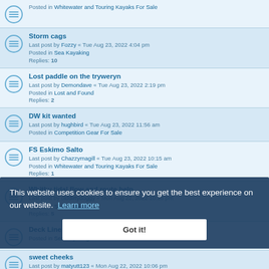Posted in Whitewater and Touring Kayaks For Sale
Storm cags
Last post by Fozzy « Tue Aug 23, 2022 4:04 pm
Posted in Sea Kayaking
Replies: 10
Lost paddle on the tryweryn
Last post by Demondave « Tue Aug 23, 2022 2:19 pm
Posted in Lost and Found
Replies: 2
DW kit wanted
Last post by hughbird « Tue Aug 23, 2022 11:56 am
Posted in Competition Gear For Sale
FS Eskimo Salto
Last post by Chazzymagill « Tue Aug 23, 2022 10:15 am
Posted in Whitewater and Touring Kayaks For Sale
Replies: 1
Whitby tidal flow and route help
Last post by olddirtydoggy « Mon Aug 22, 2022 10:28 pm
Posted in Sea Kayaking
Replies: 5
Deck Line Material
Posted in Sea Kayaking
sweet cheeks
Last post by matyutt123 « Mon Aug 22, 2022 10:06 pm
Posted in Sea Kayaking Gear For Sale
Replies: 1
Wanted: P&H Scorpio MV
Last post by Pandatree « Mon Aug 22, 2022 9:21 pm
Posted in Sea Kayaking Gear For Sale
This website uses cookies to ensure you get the best experience on our website. Learn more
Got it!